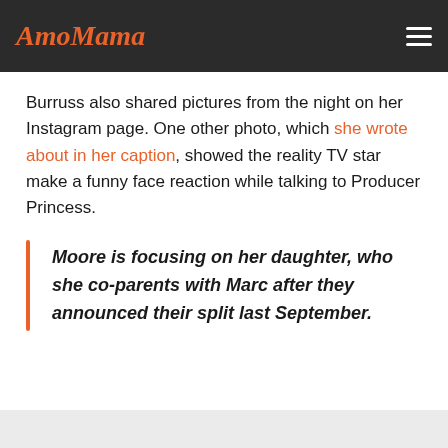AmoMama
Burruss also shared pictures from the night on her Instagram page. One other photo, which she wrote about in her caption, showed the reality TV star make a funny face reaction while talking to Producer Princess.
Moore is focusing on her daughter, who she co-parents with Marc after they announced their split last September.